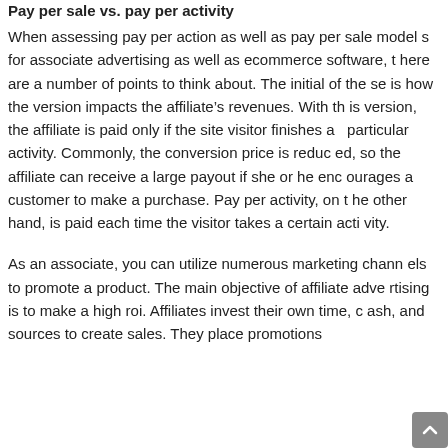Pay per sale vs. pay per activity
When assessing pay per action as well as pay per sale models for associate advertising as well as ecommerce software, there are a number of points to think about. The initial of these is how the version impacts the affiliate's revenues. With this version, the affiliate is paid only if the site visitor finishes a particular activity. Commonly, the conversion price is reduced, so the affiliate can receive a large payout if she or he encourages a customer to make a purchase. Pay per activity, on the other hand, is paid each time the visitor takes a certain activity.
As an associate, you can utilize numerous marketing channels to promote a product. The main objective of affiliate advertising is to make a high roi. Affiliates invest their own time, cash, and sources to create sales. They place promotions